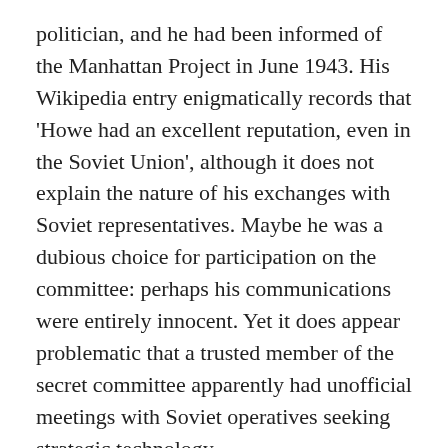politician, and he had been informed of the Manhattan Project in June 1943. His Wikipedia entry enigmatically records that 'Howe had an excellent reputation, even in the Soviet Union', although it does not explain the nature of his exchanges with Soviet representatives. Maybe he was a dubious choice for participation on the committee: perhaps his communications were entirely innocent. Yet it does appear problematic that a trusted member of the secret committee apparently had unofficial meetings with Soviet operatives seeking strategic technology.
Thus, if a leak really did take place, was Sonia truly involved, and did she in fact transmit this message herself? As I have shown in my on-line saga, Sonia's Radio (www.coldspur.com/sonias-radio) Sonia's